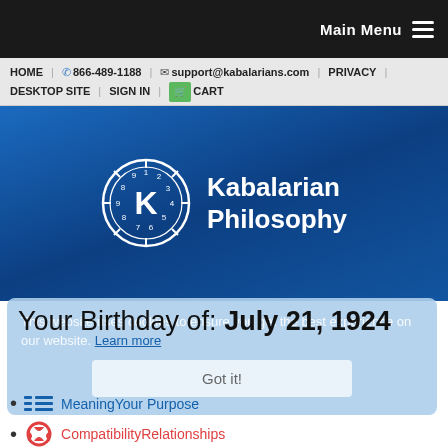Main Menu
HOME | 866-489-1188 | support@kabalarians.com | PRIVACY | DESKTOP SITE | SIGN IN | CART
[Figure (logo): Kabalarian Philosophy logo: circular clock-like emblem with letter K and numbers 1-9, white on blue, with text 'Kabalarian Philosophy' in white]
This website uses cookies to ensure you get the best experience on our website. Learn more
Your Birthday of: July 21, 1924
Meaning Your Purpose
Compatibility Relationships